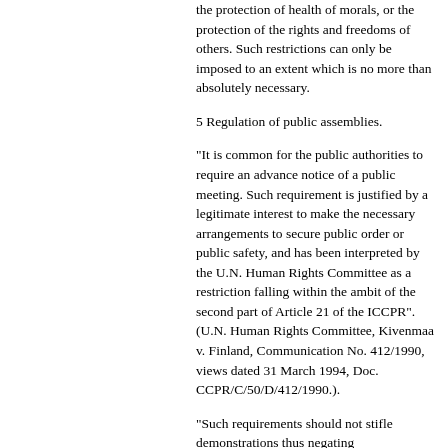the protection of health of morals, or the protection of the rights and freedoms of others. Such restrictions can only be imposed to an extent which is no more than absolutely necessary.
5 Regulation of public assemblies.
"It is common for the public authorities to require an advance notice of a public meeting. Such requirement is justified by a legitimate interest to make the necessary arrangements to secure public order or public safety, and has been interpreted by the U.N. Human Rights Committee as a restriction falling within the ambit of the second part of Article 21 of the ICCPR". (U.N. Human Rights Committee, Kivenmaa v. Finland, Communication No. 412/1990, views dated 31 March 1994, Doc. CCPR/C/50/D/412/1990.).
"Such requirements should not stifle demonstrations thus negating